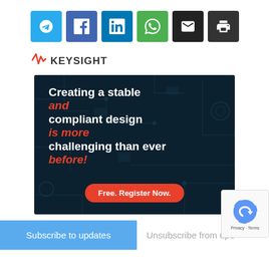[Figure (other): Social sharing buttons row: Telegram (blue), Facebook (purple-blue), LinkedIn (blue), WhatsApp (green), Email (black), Print (dark)]
[Figure (logo): Keysight Technologies logo with red waveform icon]
[Figure (infographic): Keysight advertisement banner on dark circuit board background. Text: Creating a stable and (red italic) compliant design is more (red italic) challenging than ever before! with a red rounded button: Free. Register Now.]
Subscribe to updates
Unsubscribe from updates